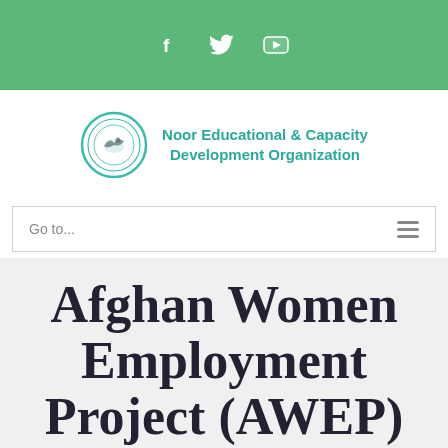[Figure (logo): Green top bar with white social media icons for Facebook, Twitter, and YouTube]
[Figure (logo): Noor Educational & Capacity Development Organization logo: circular emblem with teal/green text name beside it]
Go to...
Afghan Women Employment Project (AWEP)